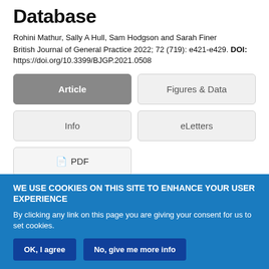Database
Rohini Mathur, Sally A Hull, Sam Hodgson and Sarah Finer
British Journal of General Practice 2022; 72 (719): e421-e429. DOI: https://doi.org/10.3399/BJGP.2021.0508
Article
Figures & Data
Info
eLetters
PDF
WE USE COOKIES ON THIS SITE TO ENHANCE YOUR USER EXPERIENCE
By clicking any link on this page you are giving your consent for us to set cookies.
OK, I agree
No, give me more info